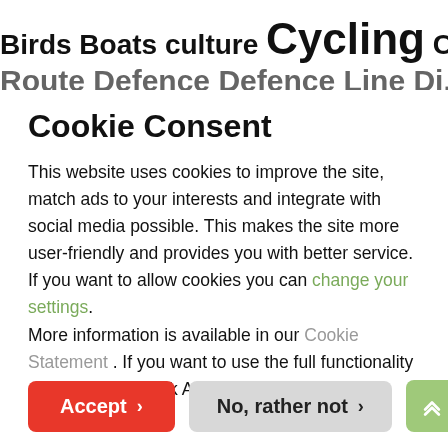Birds Boats culture Cycling Cycling
Route Defence Defence Line Di...
Cookie Consent
This website uses cookies to improve the site, match ads to your interests and integrate with social media possible. This makes the site more user-friendly and provides you with better service. If you want to allow cookies you can change your settings. More information is available in our Cookie Statement . If you want to use the full functionality of this website click Accept cookies.
Accept  |  No, rather not  |  ↑